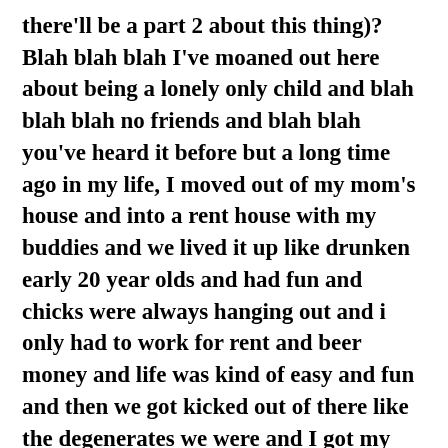there'll be a part 2 about this thing)? Blah blah blah I've moaned out here about being a lonely only child and blah blah blah no friends and blah blah you've heard it before but a long time ago in my life, I moved out of my mom's house and into a rent house with my buddies and we lived it up like drunken early 20 year olds and had fun and chicks were always hanging out and i only had to work for rent and beer money and life was kind of easy and fun and then we got kicked out of there like the degenerates we were and I got my own one room apartment and then I was all alone again. Blah blah it's real easy for me to get depressed because blah blab and here I was all fucking depressed again and one night I was up late trying to go to sleep on my